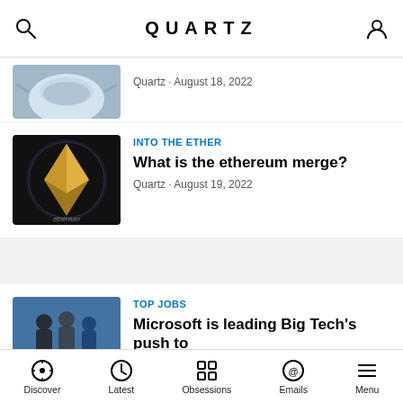QUARTZ
Quartz · August 18, 2022
INTO THE ETHER
What is the ethereum merge?
Quartz · August 19, 2022
TOP JOBS
Microsoft is leading Big Tech's push to
QUARTZ
Make business better™
DISCOVER
Discover  Latest  Obsessions  Emails  Menu